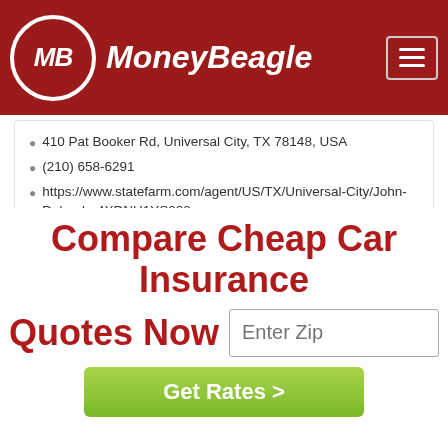MoneyBeagle
410 Pat Booker Rd, Universal City, TX 78148, USA
(210) 658-6291
https://www.statefarm.com/agent/US/TX/Universal-City/John-Delgado-4XDNH1YS000
Paul Sanchez: Allstate Insurance
1017 Pat Booker Rd ste c, Universal City, TX 78148, USA
Compare Cheap Car Insurance Quotes Now
Enter Zip
Get Rates >